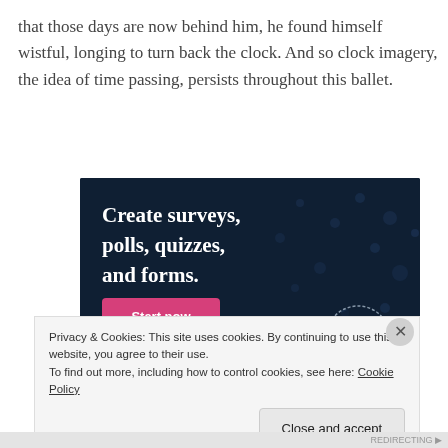that those days are now behind him, he found himself wistful, longing to turn back the clock. And so clock imagery, the idea of time passing, persists throughout this ballet.
[Figure (illustration): Advertisement banner for Crowdsignal with dark navy background and dot pattern. Text reads 'Create surveys, polls, quizzes, and forms.' with a pink 'Start now' button and Crowdsignal logo in bottom right.]
Privacy & Cookies: This site uses cookies. By continuing to use this website, you agree to their use.
To find out more, including how to control cookies, see here: Cookie Policy
Close and accept